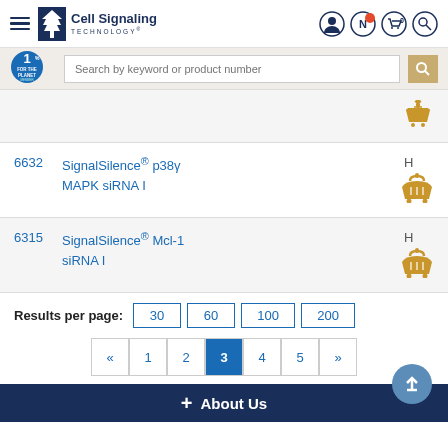Cell Signaling Technology - website header with navigation and search
6632 SignalSilence® p38γ MAPK siRNA I H
6315 SignalSilence® Mcl-1 siRNA I H
Results per page: 30 60 100 200
« 1 2 3 4 5 »
+ About Us